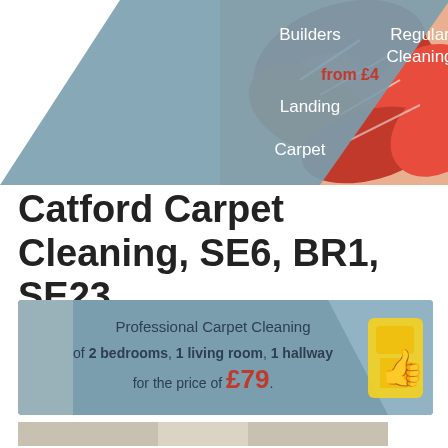[Figure (infographic): Top banner showing a decorative diamond/chevron shape with teal background containing text about carpet cleaning services (Builders, Regular Cleaning, from £4, Landing, Carpet) alongside a colorful red and orange floral rug/carpet image]
Catford Carpet Cleaning, SE6, BR1, SE23
[Figure (infographic): Promotional banner with teal/grey gradient background showing: Professional Carpet Cleaning of 2 bedrooms, 1 living room, 1 hallway for the price of £79. Yellow gloved hand thumbs-up graphic on the right.]
[Figure (photo): Photo of a staircase hallway with carpet, showing cleaned or being-cleaned carpet on stairs with white painted walls and banister]